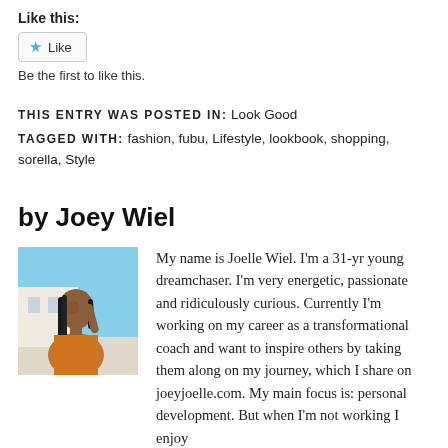Like this:
Like
Be the first to like this.
THIS ENTRY WAS POSTED IN: Look Good
TAGGED WITH: fashion, fubu, Lifestyle, lookbook, shopping, sorella, Style
by Joey Wiel
[Figure (photo): Photo of Joelle Wiel, a young woman with braids in an orange outfit, looking upward against a bright outdoor background]
My name is Joelle Wiel. I'm a 31-yr young dreamchaser. I'm very energetic, passionate and ridiculously curious. Currently I'm working on my career as a transformational coach and want to inspire others by taking them along on my journey, which I share on joeyjoelle.com. My main focus is: personal development. But when I'm not working I enjoy